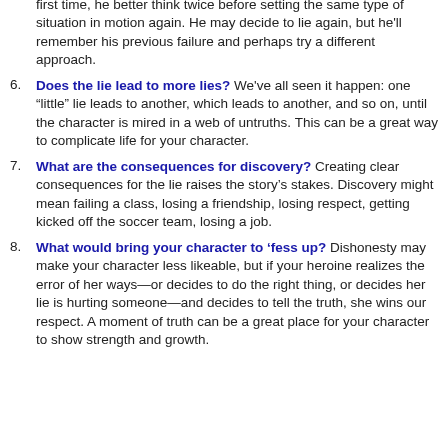first time, he better think twice before setting the same type of situation in motion again. He may decide to lie again, but he'll remember his previous failure and perhaps try a different approach.
Does the lie lead to more lies? We've all seen it happen: one "little" lie leads to another, which leads to another, and so on, until the character is mired in a web of untruths. This can be a great way to complicate life for your character.
What are the consequences for discovery? Creating clear consequences for the lie raises the story's stakes. Discovery might mean failing a class, losing a friendship, losing respect, getting kicked off the soccer team, losing a job.
What would bring your character to 'fess up? Dishonesty may make your character less likeable, but if your heroine realizes the error of her ways—or decides to do the right thing, or decides her lie is hurting someone—and decides to tell the truth, she wins our respect. A moment of truth can be a great place for your character to show strength and growth.